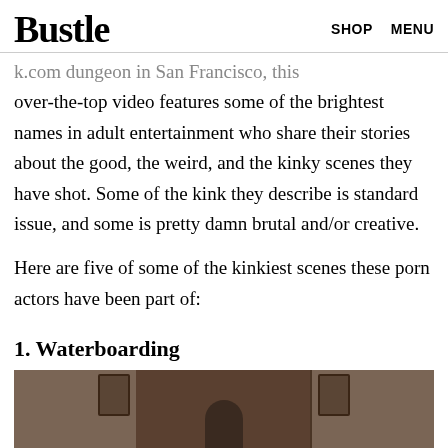Bustle   SHOP   MENU
k.com dungeon in San Francisco, this over-the-top video features some of the brightest names in adult entertainment who share their stories about the good, the weird, and the kinky scenes they have shot. Some of the kink they describe is standard issue, and some is pretty damn brutal and/or creative.
Here are five of some of the kinkiest scenes these porn actors have been part of:
1. Waterboarding
[Figure (photo): A dimly lit dungeon-style room with brick walls and industrial equipment visible on the left and right panels, with a person visible in the center.]